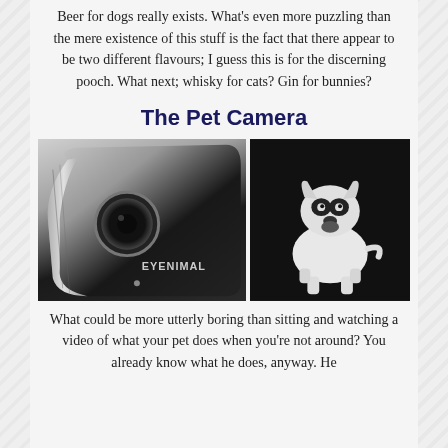Beer for dogs really exists. What's even more puzzling than the mere existence of this stuff is the fact that there appear to be two different flavours; I guess this is for the discerning pooch. What next; whisky for cats? Gin for bunnies?
The Pet Camera
[Figure (photo): Two side-by-side photos: left is an Eyenimal pet camera device (black with chrome accents), right is a French Bulldog standing against a black background.]
What could be more utterly boring than sitting and watching a video of what your pet does when you're not around? You already know what he does, anyway. He